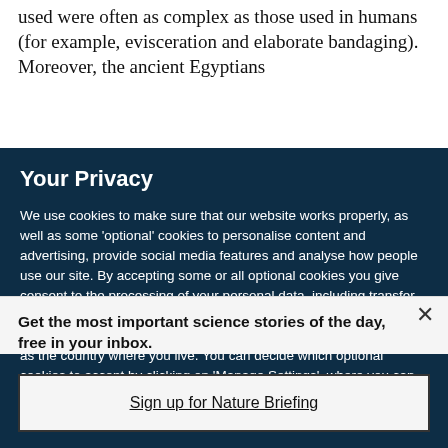used were often as complex as those used in humans (for example, evisceration and elaborate bandaging). Moreover, the ancient Egyptians
Your Privacy
We use cookies to make sure that our website works properly, as well as some 'optional' cookies to personalise content and advertising, provide social media features and analyse how people use our site. By accepting some or all optional cookies you give consent to the processing of your personal data, including transfer to third parties, some in countries outside of the European Economic Area that do not offer the same data protection standards as the country where you live. You can decide which optional cookies to accept by clicking on 'Manage Settings', where you can
Get the most important science stories of the day, free in your inbox.
Sign up for Nature Briefing